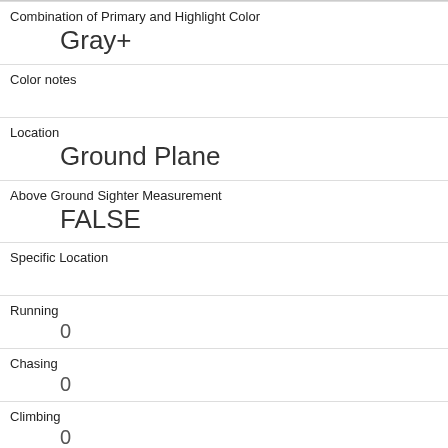| Combination of Primary and Highlight Color | Gray+ |
| Color notes |  |
| Location | Ground Plane |
| Above Ground Sighter Measurement | FALSE |
| Specific Location |  |
| Running | 0 |
| Chasing | 0 |
| Climbing | 0 |
| Eating | 1 |
| Foraging | 1 |